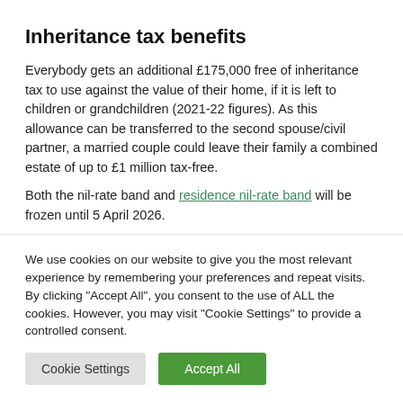Inheritance tax benefits
Everybody gets an additional £175,000 free of inheritance tax to use against the value of their home, if it is left to children or grandchildren (2021-22 figures). As this allowance can be transferred to the second spouse/civil partner, a married couple could leave their family a combined estate of up to £1 million tax-free.
Both the nil-rate band and residence nil-rate band will be frozen until 5 April 2026.
We use cookies on our website to give you the most relevant experience by remembering your preferences and repeat visits. By clicking "Accept All", you consent to the use of ALL the cookies. However, you may visit "Cookie Settings" to provide a controlled consent.